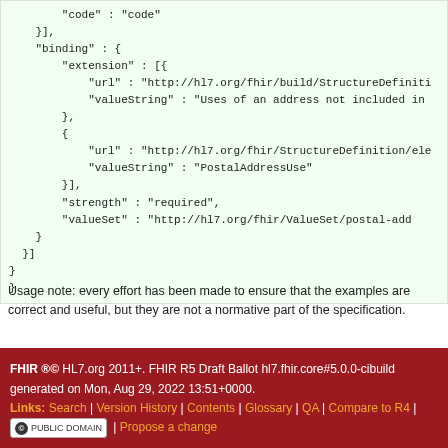"code" : "code"
}],
"binding" : {
  "extension" : [{
    "url" : "http://hl7.org/fhir/build/StructureDefiniti
    "valueString" : "Uses of an address not included in
  },
  {
    "url" : "http://hl7.org/fhir/StructureDefinition/ele
    "valueString" : "PostalAddressUse"
  }],
  "strength" : "required",
  "valueSet" : "http://hl7.org/fhir/ValueSet/postal-add
}
}]
}
}
Usage note: every effort has been made to ensure that the examples are correct and useful, but they are not a normative part of the specification.
FHIR ®© HL7.org 2011+. FHIR R5 Draft Ballot hl7.fhir.core#5.0.0-cibuild generated on Mon, Aug 29, 2022 13:51+0000. Links: Search | Version History | Contents | Glossary | QA | Compare to R4 | [CC PUBLIC DOMAIN] | Propose a change